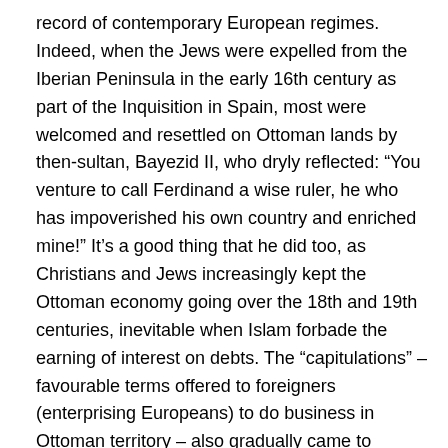record of contemporary European regimes. Indeed, when the Jews were expelled from the Iberian Peninsula in the early 16th century as part of the Inquisition in Spain, most were welcomed and resettled on Ottoman lands by then-sultan, Bayezid II, who dryly reflected: “You venture to call Ferdinand a wise ruler, he who has impoverished his own country and enriched mine!” It’s a good thing that he did too, as Christians and Jews increasingly kept the Ottoman economy going over the 18th and 19th centuries, inevitable when Islam forbade the earning of interest on debts. The “capitulations” – favourable terms offered to foreigners (enterprising Europeans) to do business in Ottoman territory – also gradually came to symbolise the increasing stranglehold in which the western European powers began to hold the Ottomans. Initially intended as a sensible method to stimulate trade with outsiders (the